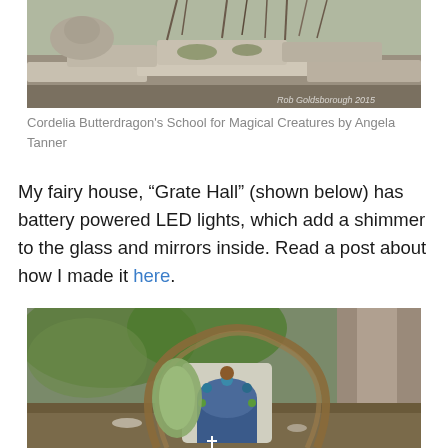[Figure (photo): A fairy garden scene with stone structures, rocks, moss, and twisted branches forming a small natural dwelling. Watermark reads 'Rob Goldsborough 2015'.]
Cordelia Butterdragon's School for Magical Creatures by Angela Tanner
My fairy house, “Grate Hall” (shown below) has battery powered LED lights, which add a shimmer to the glass and mirrors inside. Read a post about how I made it here.
[Figure (photo): A fairy house structure nestled among tree roots in a woodland setting, featuring a decorative arched entrance with woven willow branches, colorful mosaic-style facade with blue and green tiles, surrounded by forest greenery and small decorative objects.]